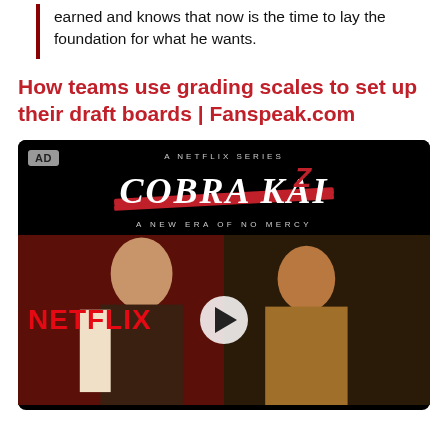earned and knows that now is the time to lay the foundation for what he wants.
How teams use grading scales to set up their draft boards | Fanspeak.com
[Figure (photo): Netflix advertisement for Cobra Kai - A Netflix Series, A New Era of No Mercy. Shows two actors in a fighting pose with Netflix logo and a play button overlay. AD label in top left corner.]